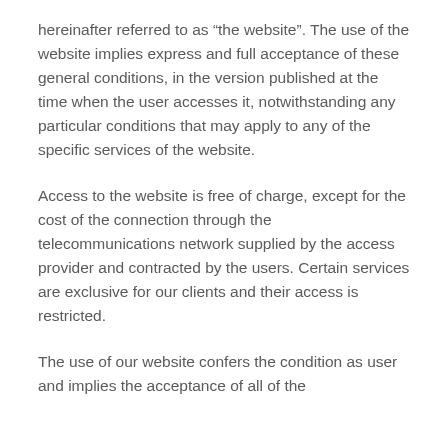hereinafter referred to as “the website”. The use of the website implies express and full acceptance of these general conditions, in the version published at the time when the user accesses it, notwithstanding any particular conditions that may apply to any of the specific services of the website.
Access to the website is free of charge, except for the cost of the connection through the telecommunications network supplied by the access provider and contracted by the users. Certain services are exclusive for our clients and their access is restricted.
The use of our website confers the condition as user and implies the acceptance of all of the